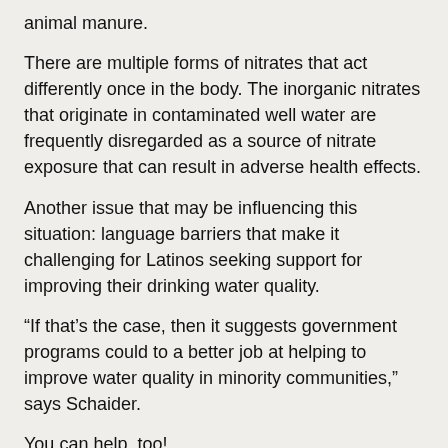animal manure.
There are multiple forms of nitrates that act differently once in the body. The inorganic nitrates that originate in contaminated well water are frequently disregarded as a source of nitrate exposure that can result in adverse health effects.
Another issue that may be influencing this situation: language barriers that make it challenging for Latinos seeking support for improving their drinking water quality.
“If that’s the case, then it suggests government programs could to a better job at helping to improve water quality in minority communities,” says Schaider.
You can help, too!
Check out the Salud America! action pack to help you add a Water Bottle Fountain to your school to give students all-day access to clean, filtered water!